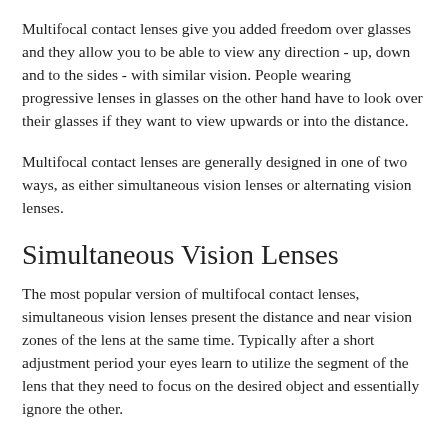Multifocal contact lenses give you added freedom over glasses and they allow you to be able to view any direction - up, down and to the sides - with similar vision. People wearing progressive lenses in glasses on the other hand have to look over their glasses if they want to view upwards or into the distance.
Multifocal contact lenses are generally designed in one of two ways, as either simultaneous vision lenses or alternating vision lenses.
Simultaneous Vision Lenses
The most popular version of multifocal contact lenses, simultaneous vision lenses present the distance and near vision zones of the lens at the same time. Typically after a short adjustment period your eyes learn to utilize the segment of the lens that they need to focus on the desired object and essentially ignore the other.